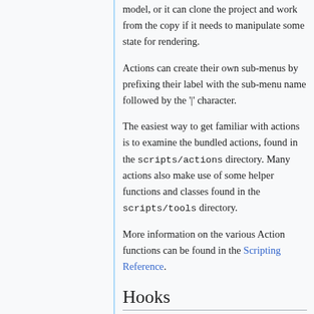model, or it can clone the project and work from the copy if it needs to manipulate some state for rendering.
Actions can create their own sub-menus by prefixing their label with the sub-menu name followed by the '|' character.
The easiest way to get familiar with actions is to examine the bundled actions, found in the scripts/actions directory. Many actions also make use of some helper functions and classes found in the scripts/tools directory.
More information on the various Action functions can be found in the Scripting Reference.
Hooks
Hooks can be used to perform various